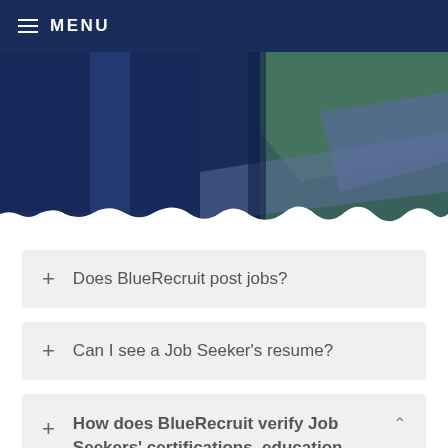≡ MENU
[Figure (photo): Abstract dark blue and green geometric shapes/panels, partially overlapping, creating a decorative header banner with a torn paper edge effect at the bottom]
+ Does BlueRecruit post jobs?
+ Can I see a Job Seeker's resume?
+ How does BlueRecruit verify Job Seekers' certifications, education,